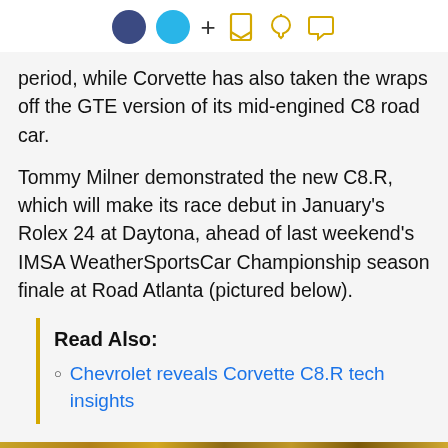Social sharing icons: dark circle, light blue circle, plus, bookmark, bell, chat
period, while Corvette has also taken the wraps off the GTE version of its mid-engined C8 road car.
Tommy Milner demonstrated the new C8.R, which will make its race debut in January's Rolex 24 at Daytona, ahead of last weekend's IMSA WeatherSportsCar Championship season finale at Road Atlanta (pictured below).
Read Also:
Chevrolet reveals Corvette C8.R tech insights
[Figure (photo): Bottom portion of a racing car photo showing yellow and blue livery stripes on the left side and a textured surface.]